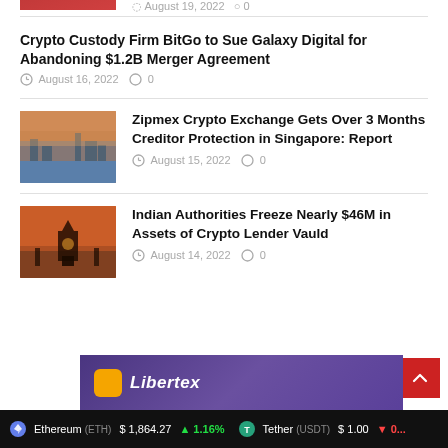[Figure (photo): Partial thumbnail visible at top of page, cropped]
Crypto Custody Firm BitGo to Sue Galaxy Digital for Abandoning $1.2B Merger Agreement
August 16, 2022   0
[Figure (photo): Singapore city skyline at sunset]
Zipmex Crypto Exchange Gets Over 3 Months Creditor Protection in Singapore: Report
August 15, 2022   0
[Figure (photo): Indian monument silhouette at sunset]
Indian Authorities Freeze Nearly $46M in Assets of Crypto Lender Vauld
August 14, 2022   0
[Figure (advertisement): Libertex advertisement banner with purple background]
Ethereum (ETH) $1,864.27 ▲1.16%   Tether (USDT) $1.00 ▼0...